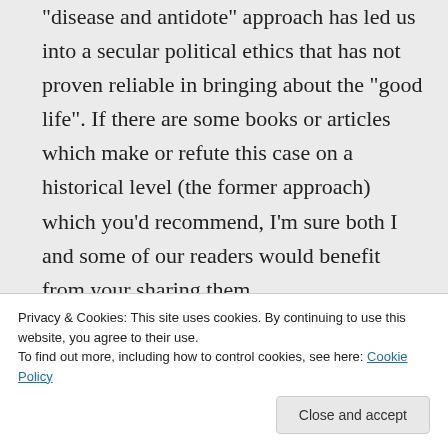“disease and antidote” approach has led us into a secular political ethics that has not proven reliable in bringing about the “good life”. If there are some books or articles which make or refute this case on a historical level (the former approach) which you’d recommend, I’m sure both I and some of our readers would benefit from your sharing them.
On Defining Rights and Seeking Their
certain classical conception of “rights”:
Privacy & Cookies: This site uses cookies. By continuing to use this website, you agree to their use.
To find out more, including how to control cookies, see here: Cookie Policy